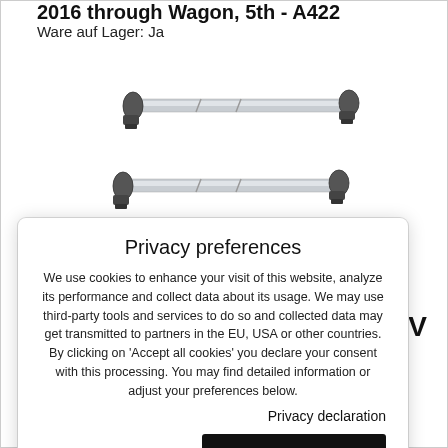2016 through Wagon, 5th - A422
Ware auf Lager: Ja
[Figure (photo): Two silver aluminum roof rack bars/crossbars for a vehicle, shown on a white background.]
SUV
Ware auf Lager: Ja
Privacy preferences
We use cookies to enhance your visit of this website, analyze its performance and collect data about its usage. We may use third-party tools and services to do so and collected data may get transmitted to partners in the EU, USA or other countries. By clicking on 'Accept all cookies' you declare your consent with this processing. You may find detailed information or adjust your preferences below.
Privacy declaration
Show details
Accept all cookies